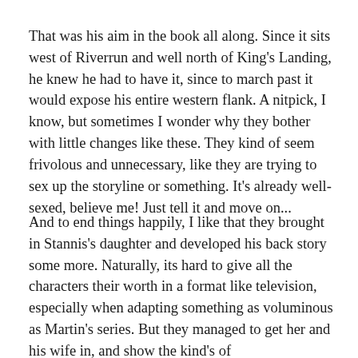That was his aim in the book all along. Since it sits west of Riverrun and well north of King's Landing, he knew he had to have it, since to march past it would expose his entire western flank. A nitpick, I know, but sometimes I wonder why they bother with little changes like these. They kind of seem frivolous and unnecessary, like they are trying to sex up the storyline or something. It's already well-sexed, believe me! Just tell it and move on...
And to end things happily, I like that they brought in Stannis's daughter and developed his back story some more. Naturally, its hard to give all the characters their worth in a format like television, especially when adapting something as voluminous as Martin's series. But they managed to get her and his wife in, and show the kind's of